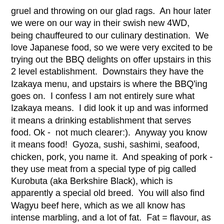gruel and throwing on our glad rags.  An hour later we were on our way in their swish new 4WD, being chauffeured to our culinary destination.  We love Japanese food, so we were very excited to be trying out the BBQ delights on offer upstairs in this 2 level establishment.  Downstairs they have the Izakaya menu, and upstairs is where the BBQ'ing goes on.  I confess I am not entirely sure what Izakaya means.  I did look it up and was informed it means a drinking establishment that serves food. Ok -  not much clearer:).  Anyway you know it means food!  Gyoza, sushi, sashimi, seafood, chicken, pork, you name it.  And speaking of pork - they use meat from a special type of pig called Kurobuta (aka Berkshire Black), which is apparently a special old breed.  You will also find Wagyu beef here, which as we all know has intense marbling, and a lot of fat.  Fat = flavour, as the chefs say!
We took the service lift up to the 1st floor as my knee is still acting up (there were a lot of stairs). You find a very large space with queer, copper tubes hanging down.  These are the extractor fans that hang over the BBQ plate at each table. Really beautiful in themselves, and practical too.  Our friends are the insurance brokers for this restaurant (no, we